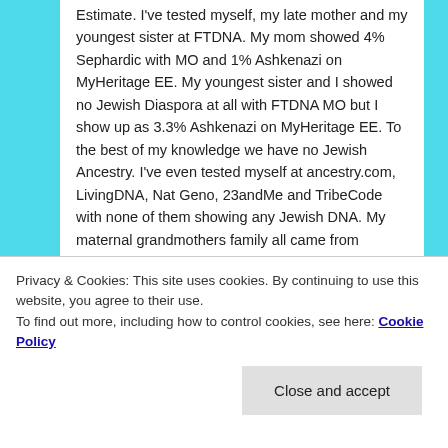Estimate. I've tested myself, my late mother and my youngest sister at FTDNA. My mom showed 4% Sephardic with MO and 1% Ashkenazi on MyHeritage EE. My youngest sister and I showed no Jewish Diaspora at all with FTDNA MO but I show up as 3.3% Ashkenazi on MyHeritage EE. To the best of my knowledge we have no Jewish Ancestry. I've even tested myself at ancestry.com, LivingDNA, Nat Geno, 23andMe and TribeCode with none of them showing any Jewish DNA. My maternal grandmothers family all came from Hungary and I've gone back as far as my 4th great grandparents and no one shows up as being Jewish. I am not sure what to believe anymore. If it is true I will certainly embrace it but if the
Privacy & Cookies: This site uses cookies. By continuing to use this website, you agree to their use. To find out more, including how to control cookies, see here: Cookie Policy
Close and accept